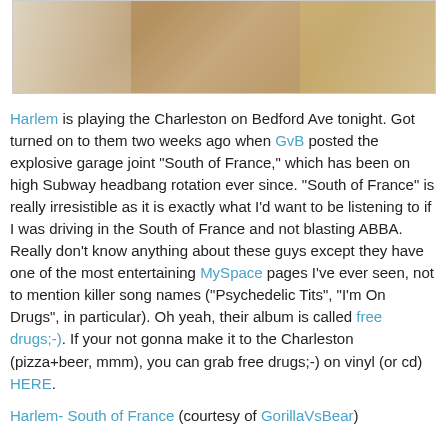[Figure (photo): Bottom portion of a photo showing legs/feet on sandy rocky ground]
Harlem is playing the Charleston on Bedford Ave tonight. Got turned on to them two weeks ago when GvB posted the explosive garage joint "South of France," which has been on high Subway headbang rotation ever since. "South of France" is really irresistible as it is exactly what I'd want to be listening to if I was driving in the South of France and not blasting ABBA. Really don't know anything about these guys except they have one of the most entertaining MySpace pages I've ever seen, not to mention killer song names ("Psychedelic Tits", "I'm On Drugs", in particular). Oh yeah, their album is called free drugs;-). If your not gonna make it to the Charleston (pizza+beer, mmm), you can grab free drugs;-) on vinyl (or cd) HERE.
Harlem- South of France (courtesy of GorillaVsBear)